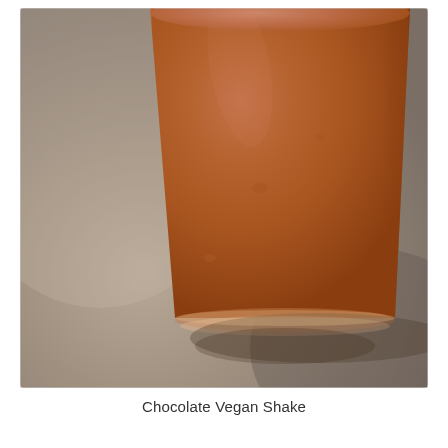[Figure (photo): Close-up photograph of a tall glass filled with a chocolate vegan shake, brown/reddish-brown color, on a grey surface. The glass is viewed from slightly above, showing the liquid filling almost to the top. The background is a blurred grey countertop.]
Chocolate Vegan Shake